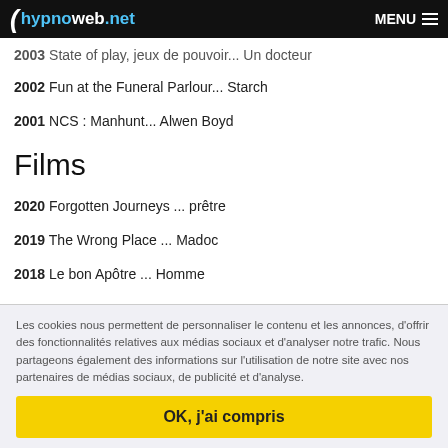hypnoweb.net MENU
2003 State of play, jeux de pouvoir... Un docteur
2002 Fun at the Funeral Parlour... Starch
2001 NCS : Manhunt... Alwen Boyd
Films
2020 Forgotten Journeys ... prêtre
2019 The Wrong Place ... Madoc
2018 Le bon Apôtre ... Homme
Les cookies nous permettent de personnaliser le contenu et les annonces, d'offrir des fonctionnalités relatives aux médias sociaux et d'analyser notre trafic. Nous partageons également des informations sur l'utilisation de notre site avec nos partenaires de médias sociaux, de publicité et d'analyse.
OK, j'ai compris